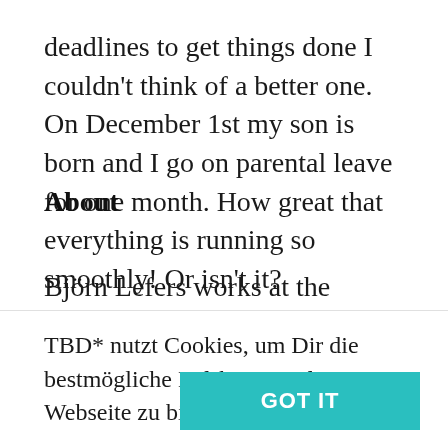deadlines to get things done I couldn't think of a better one. On December 1st my son is born and I go on parental leave for one month. How great that everything is running so smoothly! Or isn't it?
About
Björn Lefers works at the intersection of sustainability and education; education to better prepare people for a rapidly changing world and
TBD* nutzt Cookies, um Dir die bestmögliche Erfahrung auf unserer Webseite zu bieten. Erfahre mehr, hier.